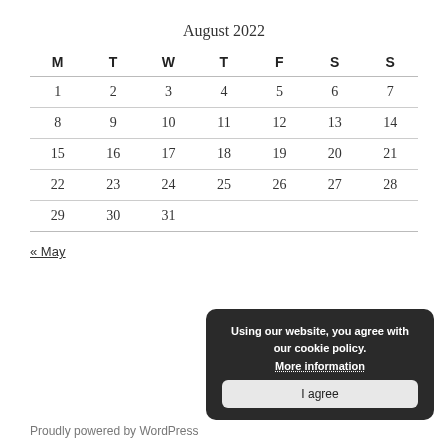August 2022
| M | T | W | T | F | S | S |
| --- | --- | --- | --- | --- | --- | --- |
| 1 | 2 | 3 | 4 | 5 | 6 | 7 |
| 8 | 9 | 10 | 11 | 12 | 13 | 14 |
| 15 | 16 | 17 | 18 | 19 | 20 | 21 |
| 22 | 23 | 24 | 25 | 26 | 27 | 28 |
| 29 | 30 | 31 |  |  |  |  |
« May
Using our website, you agree with our cookie policy. More information I agree
Proudly powered by WordPress